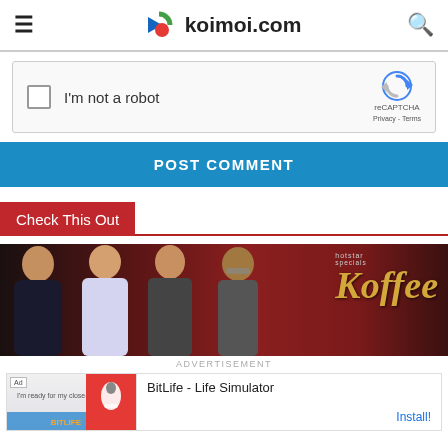koimoi.com
[Figure (screenshot): reCAPTCHA widget with checkbox labeled I'm not a robot]
POST COMMENT
Check This Out
[Figure (photo): Photo of people (Bollywood actors) with Hotstar Specials Koffee with Karan branding in background]
ADVERTISEMENT
[Figure (screenshot): BitLife - Life Simulator advertisement banner with Install button]